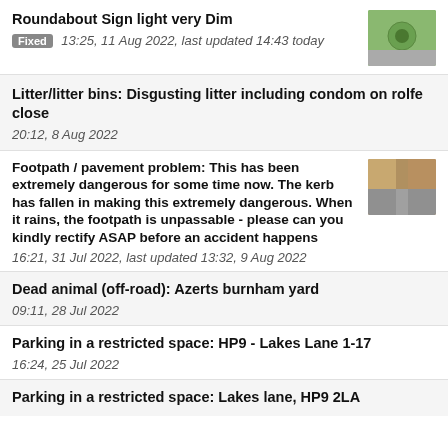Roundabout Sign light very Dim
Fixed  13:25, 11 Aug 2022, last updated 14:43 today
Litter/litter bins: Disgusting litter including condom on rolfe close
20:12, 8 Aug 2022
Footpath / pavement problem: This has been extremely dangerous for some time now. The kerb has fallen in making this extremely dangerous. When it rains, the footpath is unpassable - please can you kindly rectify ASAP before an accident happens
16:21, 31 Jul 2022, last updated 13:32, 9 Aug 2022
Dead animal (off-road): Azerts burnham yard
09:11, 28 Jul 2022
Parking in a restricted space: HP9 - Lakes Lane 1-17
16:24, 25 Jul 2022
Parking in a restricted space: Lakes lane, HP9 2LA